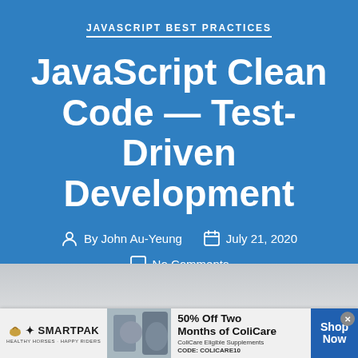JAVASCRIPT BEST PRACTICES
JavaScript Clean Code — Test-Driven Development
By John Au-Yeung   July 21, 2020
No Comments
[Figure (photo): Blurred grey background photo of a room or outdoor scene]
[Figure (infographic): SmartPak advertisement banner: 50% Off Two Months of ColiCare, ColiCare Eligible Supplements, CODE: COLICARE10, with Shop Now button]